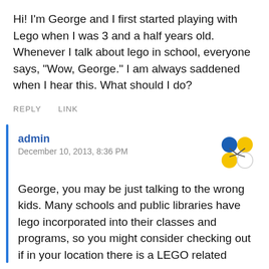Hi! I'm George and I first started playing with Lego when I was 3 and a half years old. Whenever I talk about lego in school, everyone says, "Wow, George." I am always saddened when I hear this. What should I do?
REPLY   LINK
admin
December 10, 2013, 8:36 PM
George, you may be just talking to the wrong kids. Many schools and public libraries have lego incorporated into their classes and programs, so you might consider checking out if in your location there is a LEGO related